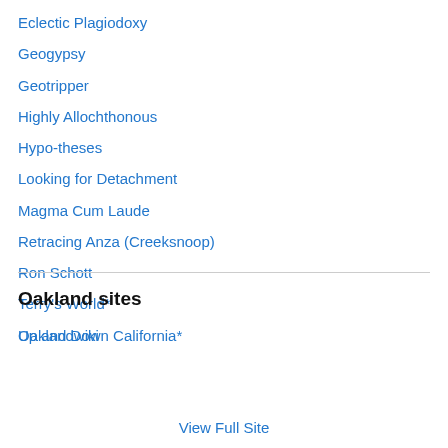Eclectic Plagiodoxy
Geogypsy
Geotripper
Highly Allochthonous
Hypo-theses
Looking for Detachment
Magma Cum Laude
Retracing Anza (Creeksnoop)
Ron Schott
Terry's World*
Up and Down California*
Oakland sites
Oaklandwiki
View Full Site